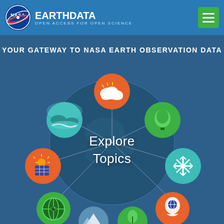NASA EARTHDATA — OPEN ACCESS FOR OPEN SCIENCE
YOUR GATEWAY TO NASA EARTH OBSERVATION DATA
[Figure (infographic): Circular infographic showing 'Explore Topics' at center over a globe, surrounded by 8 topic icon circles: orange cloud (atmosphere), teal water/landscape (water resources), green tree (biosphere), orange sun/solar panel (energy), teal snowflake (cryosphere), green globe (human dimensions), orange head with globe (applied sciences), partially visible mountain and green icons at bottom]
Explore Topics